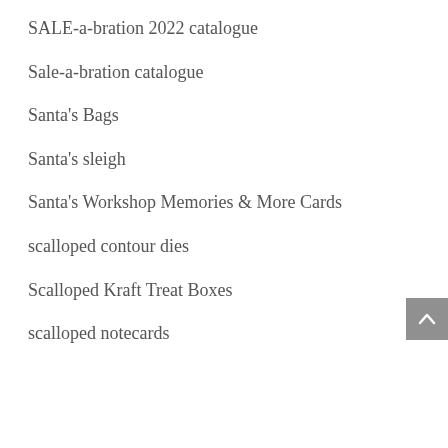SALE-a-bration 2022 catalogue
Sale-a-bration catalogue
Santa's Bags
Santa's sleigh
Santa's Workshop Memories & More Cards
scalloped contour dies
Scalloped Kraft Treat Boxes
scalloped notecards